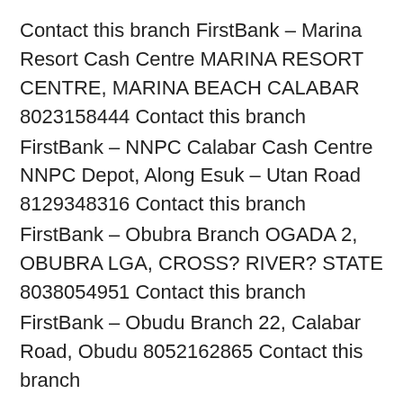Contact this branch FirstBank – Marina Resort Cash Centre MARINA RESORT CENTRE, MARINA BEACH CALABAR 8023158444 Contact this branch
FirstBank – NNPC Calabar Cash Centre NNPC Depot, Along Esuk – Utan Road 8129348316 Contact this branch
FirstBank – Obubra Branch OGADA 2, OBUBRA LGA, CROSS? RIVER? STATE 8038054951 Contact this branch
FirstBank – Obudu Branch 22, Calabar Road, Obudu 8052162865 Contact this branch
FirstBank – Ogoja Branch General Hospital Road, Igoli 7086538688 Contact this branch
FirstBank – Ugep Branch NO 6 IKOM /CALABAR